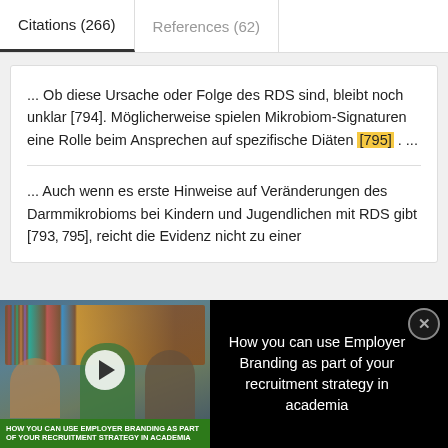Citations (266)
References (62)
... Ob diese Ursache oder Folge des RDS sind, bleibt noch unklar [794]. Möglicherweise spielen Mikrobiom-Signaturen eine Rolle beim Ansprechen auf spezifische Diäten [795] . ...
... Auch wenn es erste Hinweise auf Veränderungen des Darmmikrobioms bei Kindern und Jugendlichen mit RDS gibt [793, 795], reicht die Evidenz nicht zu einer ...
[Figure (screenshot): Video overlay with thumbnail showing students in library and text: How you can use Employer Branding as part of your recruitment strategy in academia]
[Figure (logo): Thermo Fisher Scientific logo and ad for Gene editing for clinical cell therapy applications]